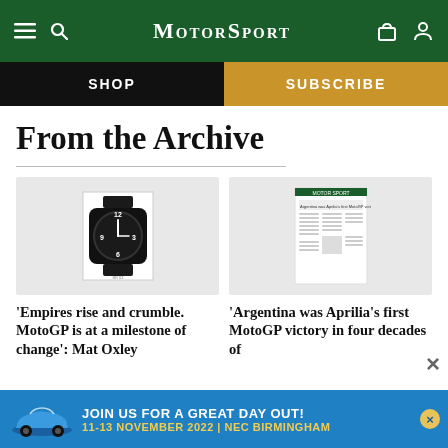Motor Sport
SHOP
SUBSCRIBE
From the Archive
[Figure (photo): Advertisement image of a black aviation-style wristwatch with white numerals on a black face, framed in a white border]
'Empires rise and crumble. MotoGP is at a milestone of change': Mat Oxley
[Figure (photo): Thumbnail image of a Motor Sport magazine archive article page with small text columns]
'Argentina was Aprilia’s first MotoGP victory in four decades of
[Figure (photo): Advertisement banner: JOIN US FOR A GREAT DAY OUT! 11-13 NOVEMBER 2022 | NEC BIRMINGHAM, showing a blue Porsche 911 on a blue background]